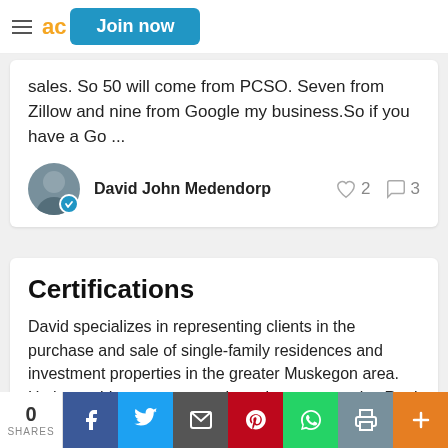ad | Join now
sales. So 50 will come from PCSO. Seven from Zillow and nine from Google my business.So if you have a Go ...
David John Medendorp
Certifications
David specializes in representing clients in the purchase and sale of single-family residences and investment properties in the greater Muskegon area. He has sold more property than almost any active Real Estate agent
0 SHARES | Facebook | Twitter | Email | Pinterest | WhatsApp | Print | More